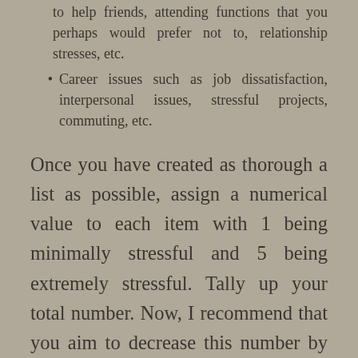to help friends, attending functions that you perhaps would prefer not to, relationship stresses, etc.
Career issues such as job dissatisfaction, interpersonal issues, stressful projects, commuting, etc.
Once you have created as thorough a list as possible, assign a numerical value to each item with 1 being minimally stressful and 5 being extremely stressful. Tally up your total number. Now, I recommend that you aim to decrease this number by 10%.